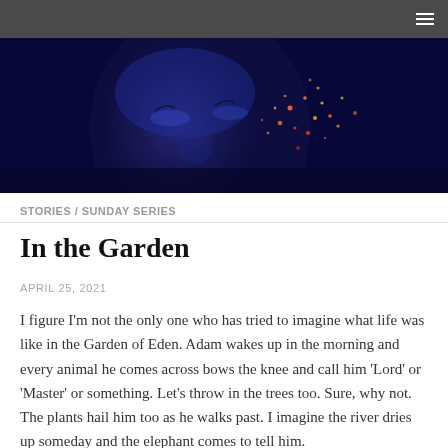[Figure (photo): Close-up of a person's face with blue-tinted lighting and colorful glitter/sparkles on their cheek, looking upward. Dark blue tones throughout.]
STORIES / SUNDAY SERIES
In the Garden
APRIL 25, 2021
I figure I'm not the only one who has tried to imagine what life was like in the Garden of Eden. Adam wakes up in the morning and every animal he comes across bows the knee and call him 'Lord' or 'Master' or something. Let's throw in the trees too. Sure, why not. The plants hail him too as he walks past. I imagine the river dries up someday and the elephant comes to tell him.